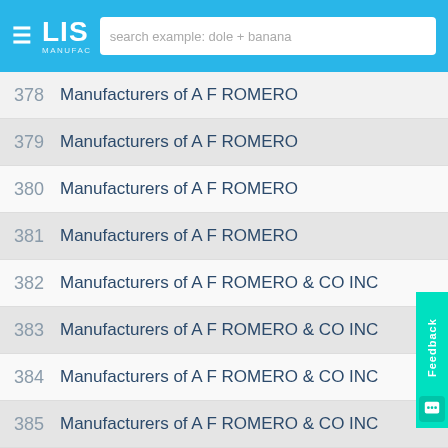LIS MANUFACTURERS — search example: dole + banana
378  Manufacturers of A F ROMERO
379  Manufacturers of A F ROMERO
380  Manufacturers of A F ROMERO
381  Manufacturers of A F ROMERO
382  Manufacturers of A F ROMERO & CO INC
383  Manufacturers of A F ROMERO & CO INC
384  Manufacturers of A F ROMERO & CO INC
385  Manufacturers of A F ROMERO & CO INC
386  Manufacturers of A F ROMERO & CO INC
387  Manufacturers of A F ROMERO & CO INC